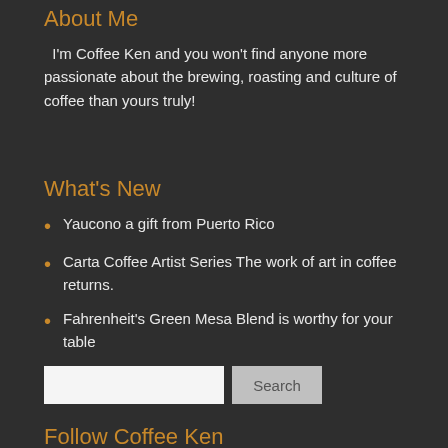About Me
I'm Coffee Ken and you won't find anyone more passionate about the brewing, roasting and culture of coffee than yours truly!
What's New
Yaucono a gift from Puerto Rico
Carta Coffee Artist Series The work of art in coffee returns.
Fahrenheit's Green Mesa Blend is worthy for your table
Search
Follow Coffee Ken